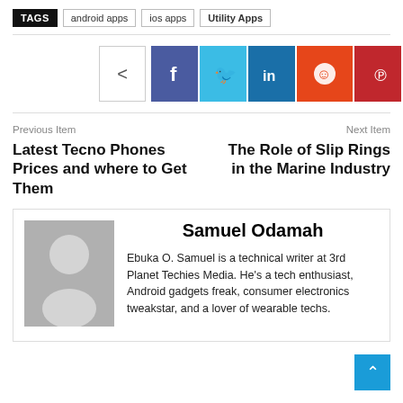TAGS  android apps  ios apps  Utility Apps
[Figure (infographic): Social share buttons: generic share icon, Facebook, Twitter, LinkedIn, Reddit, Pinterest]
Previous Item
Latest Tecno Phones Prices and where to Get Them
Next Item
The Role of Slip Rings in the Marine Industry
Samuel Odamah
[Figure (photo): Gray placeholder avatar image of a person silhouette]
Ebuka O. Samuel is a technical writer at 3rd Planet Techies Media. He's a tech enthusiast, Android gadgets freak, consumer electronics tweakstar, and a lover of wearable techs.